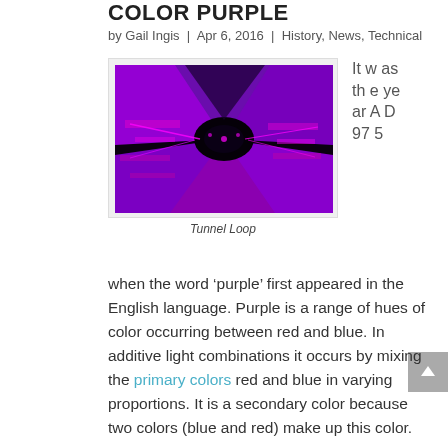COLOR PURPLE
by Gail Ingis | Apr 6, 2016 | History, News, Technical
[Figure (photo): Abstract 3D tunnel rendered in black and purple/magenta colors, with geometric platforms and neon-lit elements creating a futuristic corridor perspective.]
Tunnel Loop
It was the year AD 975
when the word ‘purple’ first appeared in the English language. Purple is a range of hues of color occurring between red and blue. In additive light combinations it occurs by mixing the primary colors red and blue in varying proportions. It is a secondary color because two colors (blue and red) make up this color.